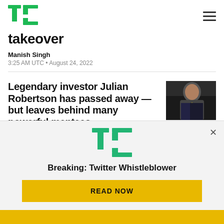TechCrunch logo and navigation
takeover
Manish Singh
3:25 AM UTC • August 24, 2022
Legendary investor Julian Robertson has passed away — but leaves behind many powerful mentees
Connie Loizos
[Figure (photo): Photo of Julian Robertson, elderly man in suit with yellow tie]
[Figure (infographic): TechCrunch promotional overlay: Breaking: Twitter Whistleblower with READ NOW button]